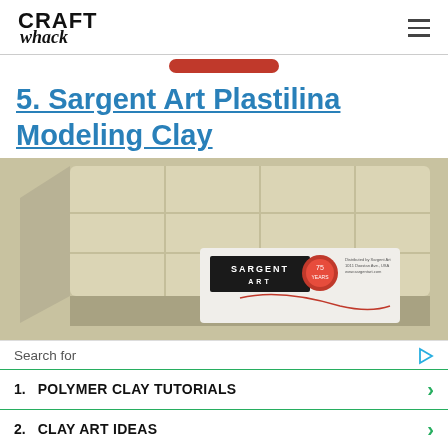CRAFT whack
5. Sargent Art Plastilina Modeling Clay
[Figure (photo): A block of Sargent Art Plastilina Modeling Clay with white/cream color, showing the Sargent Art brand label with red wax seal logo]
Search for
1. POLYMER CLAY TUTORIALS
2. CLAY ART IDEAS
Yahoo! Search | Sponsored